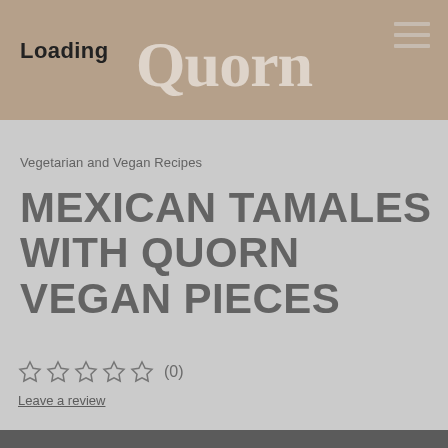Loading
[Figure (logo): Quorn brand logo in large serif white/translucent text on tan/brown header background]
Vegetarian and Vegan Recipes
MEXICAN TAMALES WITH QUORN VEGAN PIECES
(0)
Leave a review
[Figure (photo): Partial photo of Mexican tamales dish visible at bottom of page, dark decorative background]